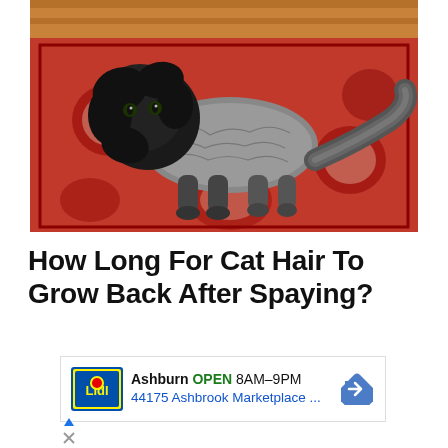[Figure (photo): A black and grey Persian or long-haired cat that has been partially shaved/groomed, sitting on a red patterned rug on a wooden floor. The cat has a full fluffy black head and tail but a closely shaved grey body.]
How Long For Cat Hair To Grow Back After Spaying?
[Figure (infographic): An advertisement for Lidl Ashburn store showing: store logo, 'OPEN 8AM-9PM', address '44175 Ashbrook Marketplace ...', and a blue navigation arrow icon.]